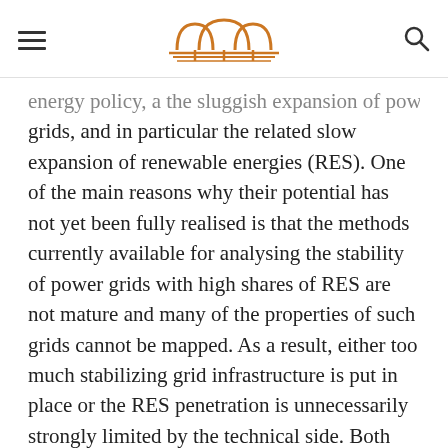[hamburger menu] [logo] [search icon]
energy policy, a the sluggish expansion of power grids, and in particular the related slow expansion of renewable energies (RES). One of the main reasons why their potential has not yet been fully realised is that the methods currently available for analysing the stability of power grids with high shares of RES are not mature and many of the properties of such grids cannot be mapped. As a result, either too much stabilizing grid infrastructure is put in place or the RES penetration is unnecessarily strongly limited by the technical side. Both engender high costs for the grid operators.